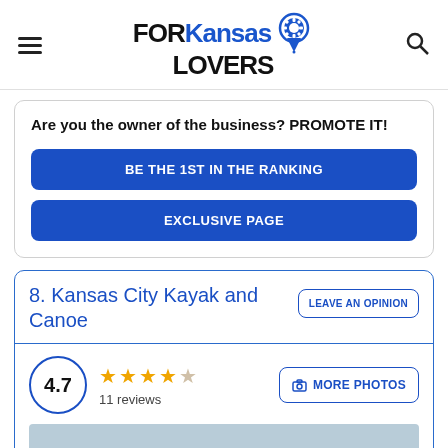[Figure (logo): FOR Kansas LOVERS logo with map pin icon and hamburger menu and search icon]
Are you the owner of the business? PROMOTE IT!
BE THE 1ST IN THE RANKING
EXCLUSIVE PAGE
8. Kansas City Kayak and Canoe
LEAVE AN OPINION
4.7
11 reviews
MORE PHOTOS